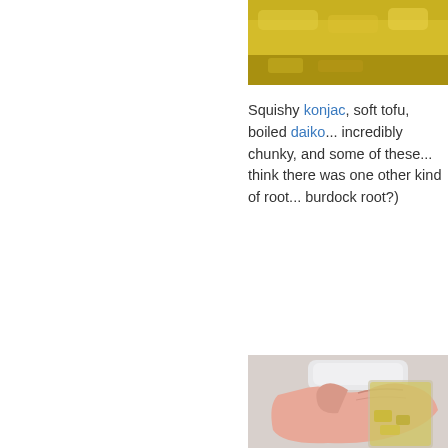[Figure (photo): Top portion of a container with yellow/golden colored liquid or food, cropped at top of page]
Squishy konjac, soft tofu, boiled daiko... incredibly chunky, and some of these... think there was one other kind of root... burdock root?)
[Figure (photo): A hand holding a clear plastic container with yellow/green colored food inside, viewed from the side]